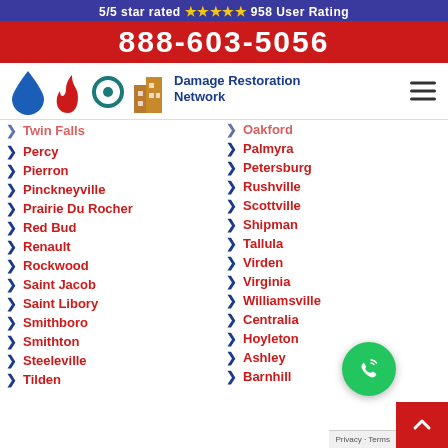5/5 star rated ⭐⭐⭐⭐⭐ 958 User Rating
888-603-5056
[Figure (logo): Damage Restoration Network logo with water drop, flame, hurricane, and building icons]
Twin Falls
Oakford
Percy
Palmyra
Pierron
Petersburg
Pinckneyville
Rushville
Prairie Du Rocher
Scottville
Red Bud
Shipman
Renault
Tallula
Rockwood
Virden
Saint Jacob
Virginia
Saint Libory
Williamsville
Smithboro
Centralia
Smithton
Hoyleton
Steeleville
Ashley
Tilden
Barnhill